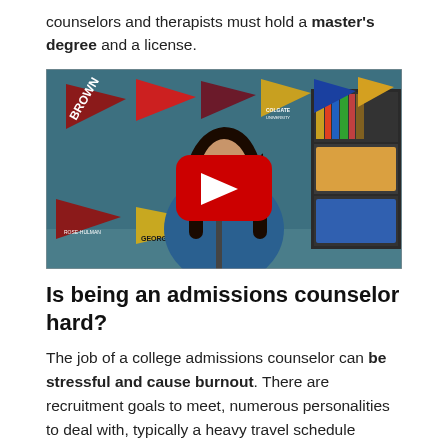counselors and therapists must hold a master's degree and a license.
[Figure (screenshot): YouTube video thumbnail showing a woman with glasses and dark hair sitting in front of a wall of college pennant flags including Brown, Colgate University, Georgia Tech, and others, with a red YouTube play button overlay in the center.]
Is being an admissions counselor hard?
The job of a college admissions counselor can be stressful and cause burnout. There are recruitment goals to meet, numerous personalities to deal with, typically a heavy travel schedule during peak recruitment periods—which, in most cases, is early fall—and always a lot of paperwork and digital